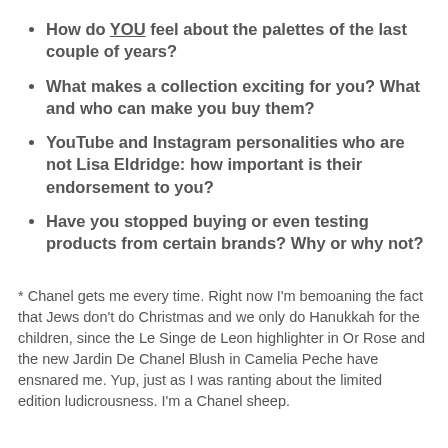How do YOU feel about the palettes of the last couple of years?
What makes a collection exciting for you? What and who can make you buy them?
YouTube and Instagram personalities who are not Lisa Eldridge: how important is their endorsement to you?
Have you stopped buying or even testing products from certain brands? Why or why not?
* Chanel gets me every time. Right now I'm bemoaning the fact that Jews don't do Christmas and we only do Hanukkah for the children, since the Le Singe de Leon highlighter in Or Rose and the new Jardin De Chanel Blush in Camelia Peche have ensnared me. Yup, just as I was ranting about the limited edition ludicrousness. I'm a Chanel sheep.